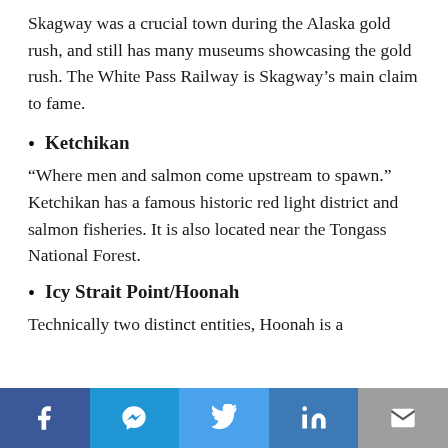Skagway was a crucial town during the Alaska gold rush, and still has many museums showcasing the gold rush. The White Pass Railway is Skagway's main claim to fame.
Ketchikan
"Where men and salmon come upstream to spawn." Ketchikan has a famous historic red light district and salmon fisheries. It is also located near the Tongass National Forest.
Icy Strait Point/Hoonah
Technically two distinct entities, Hoonah is a
[Figure (other): Social share bar with Facebook, Messenger, Twitter, LinkedIn, and Email buttons]